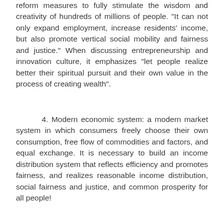reform measures to fully stimulate the wisdom and creativity of hundreds of millions of people. "It can not only expand employment, increase residents' income, but also promote vertical social mobility and fairness and justice." When discussing entrepreneurship and innovation culture, it emphasizes "let people realize better their spiritual pursuit and their own value in the process of creating wealth".
4. Modern economic system: a modern market system in which consumers freely choose their own consumption, free flow of commodities and factors, and equal exchange. It is necessary to build an income distribution system that reflects efficiency and promotes fairness, and realizes reasonable income distribution, social fairness and justice, and common prosperity for all people!